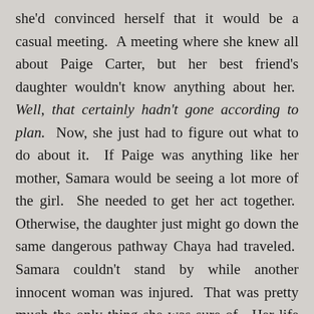she'd convinced herself that it would be a casual meeting. A meeting where she knew all about Paige Carter, but her best friend's daughter wouldn't know anything about her. Well, that certainly hadn't gone according to plan. Now, she just had to figure out what to do about it. If Paige was anything like her mother, Samara would be seeing a lot more of the girl. She needed to get her act together. Otherwise, the daughter just might go down the same dangerous pathway Chaya had traveled. Samara couldn't stand by while another innocent woman was injured. That was pretty much the only thing she was sure of. Her life had just become complicated. She'd need to stay